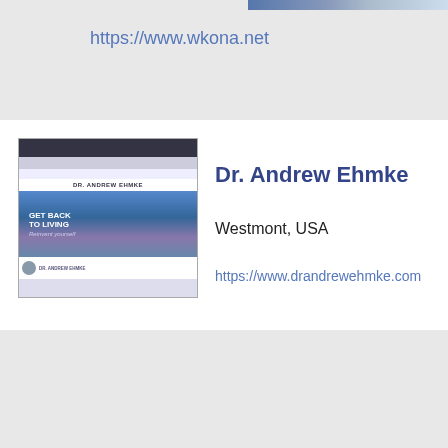https://www.wkona.net
[Figure (screenshot): Screenshot of Dr. Andrew Ehmke website showing 'GET BACK TO LIVING' hero image]
Dr. Andrew Ehmke
Westmont, USA
https://www.drandrewehmke.com
The Institute of Facial Surgery
Lance F. Grenevicki, DDS, MD, FACS
West Melbourne, USA
[Figure (screenshot): Screenshot of The Institute of Facial Surgery website showing skull X-ray hero image and specialties icons]